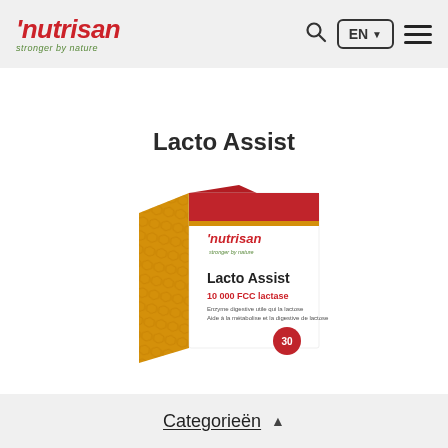nutrisan stronger by nature — EN — navigation menu
Lacto Assist
[Figure (photo): Product box of Nutrisan Lacto Assist supplement. Orange and red colored box with gold honeycomb pattern on the side. Front label shows 'nutrisan stronger by nature', 'Lacto Assist', '10 000 FCC lactase' and additional text. Box is shown at an angle.]
Categorieën ▲